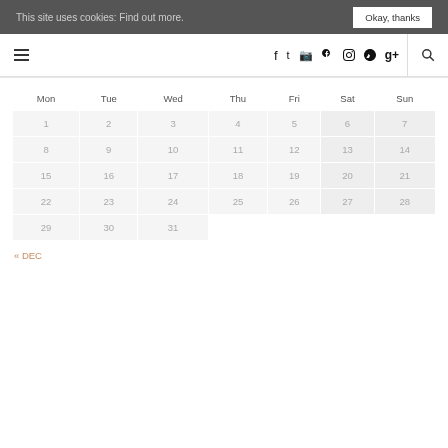This site uses cookies: Find out more.   Okay, thanks
[Figure (screenshot): Navigation bar with hamburger menu icon on left, social media icons (Facebook, Twitter, Instagram, Pinterest, Google+) in center, and search icon on right]
| Mon | Tue | Wed | Thu | Fri | Sat | Sun |
| --- | --- | --- | --- | --- | --- | --- |
| 1 | 2 | 3 | 4 | 5 | 6 | 7 |
| 8 | 9 | 10 | 11 | 12 | 13 | 14 |
| 15 | 16 | 17 | 18 | 19 | 20 | 21 |
| 22 | 23 | 24 | 25 | 26 | 27 | 28 |
| 29 | 30 | 31 |  |  |  |  |
« DEC